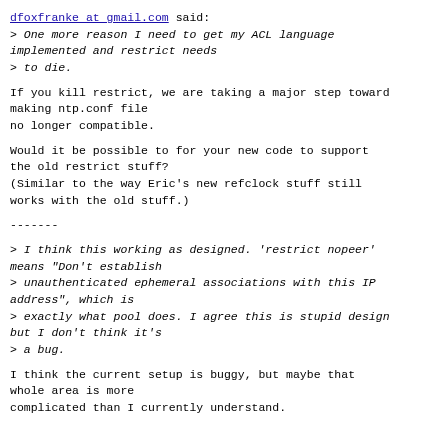dfoxfranke at gmail.com said:
> One more reason I need to get my ACL language implemented and restrict needs
> to die.
If you kill restrict, we are taking a major step toward making ntp.conf file
no longer compatible.
Would it be possible to for your new code to support the old restrict stuff?
(Similar to the way Eric's new refclock stuff still works with the old stuff.)
-------
> I think this working as designed. 'restrict nopeer' means "Don't establish
> unauthenticated ephemeral associations with this IP address", which is
> exactly what pool does. I agree this is stupid design but I don't think it's
> a bug.
I think the current setup is buggy, but maybe that whole area is more complicated than I currently understand.